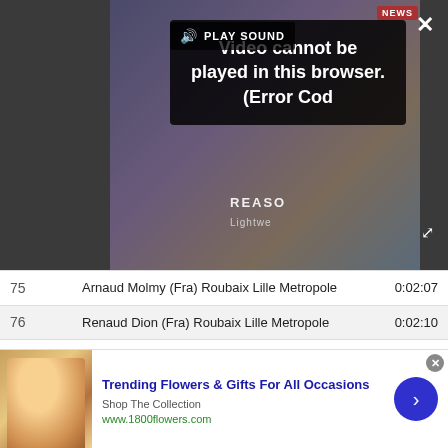[Figure (screenshot): Video player overlay showing error message 'Video cannot be played in this browser. (Error Cod' with PLAY SOUND button and close/fullscreen controls on dark background]
| # | Rider | Time |
| --- | --- | --- |
| 75 | Arnaud Molmy (Fra) Roubaix Lille Metropole | 0:02:07 |
| 76 | Renaud Dion (Fra) Roubaix Lille Metropole | 0:02:10 |
| 77 | Michael Stevenson (Swe) Sparebanken Vest - Ridley |  |
| 78 | Yohann Bagot (Fra) Cofidis, le Credit en Ligne | 0:02:12 |
| 79 | Jasper Bovenhuis (Ned) Rabobank | 0:02:16 |
[Figure (screenshot): Advertisement banner for 1800flowers.com - Trending Flowers & Gifts For All Occasions, Shop The Collection, www.1800flowers.com with blue arrow button and woman holding flowers image]